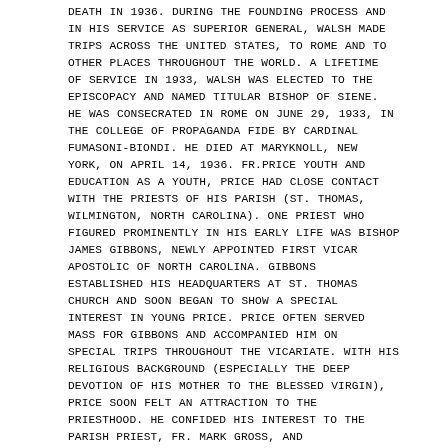DEATH IN 1936. DURING THE FOUNDING PROCESS AND IN HIS SERVICE AS SUPERIOR GENERAL, WALSH MADE TRIPS ACROSS THE UNITED STATES, TO ROME AND TO OTHER PLACES THROUGHOUT THE WORLD. A LIFETIME OF SERVICE IN 1933, WALSH WAS ELECTED TO THE EPISCOPACY AND NAMED TITULAR BISHOP OF SIENE. HE WAS CONSECRATED IN ROME ON JUNE 29, 1933, IN THE COLLEGE OF PROPAGANDA FIDE BY CARDINAL FUMASONI-BIONDI. HE DIED AT MARYKNOLL, NEW YORK, ON APRIL 14, 1936. FR.PRICE YOUTH AND EDUCATION AS A YOUTH, PRICE HAD CLOSE CONTACT WITH THE PRIESTS OF HIS PARISH (ST. THOMAS, WILMINGTON, NORTH CAROLINA). ONE PRIEST WHO FIGURED PROMINENTLY IN HIS EARLY LIFE WAS BISHOP JAMES GIBBONS, NEWLY APPOINTED FIRST VICAR APOSTOLIC OF NORTH CAROLINA. GIBBONS ESTABLISHED HIS HEADQUARTERS AT ST. THOMAS CHURCH AND SOON BEGAN TO SHOW A SPECIAL INTEREST IN YOUNG PRICE. PRICE OFTEN SERVED MASS FOR GIBBONS AND ACCOMPANIED HIM ON SPECIAL TRIPS THROUGHOUT THE VICARIATE. WITH HIS RELIGIOUS BACKGROUND (ESPECIALLY THE DEEP DEVOTION OF HIS MOTHER TO THE BLESSED VIRGIN), PRICE SOON FELT AN ATTRACTION TO THE PRIESTHOOD. HE CONFIDED HIS INTEREST TO THE PARISH PRIEST, FR. MARK GROSS, AND